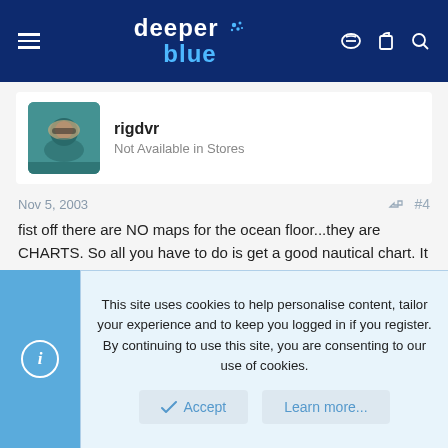deeper blue [website header with navigation icons]
[Figure (photo): Profile avatar photo of user rigdvr showing a diver underwater]
rigdvr
Not Available in Stores
Nov 5, 2003
#4
fist off there are NO maps for the ocean floor...they are CHARTS. So all you have to do is get a good nautical chart. It should tell you everything you need to know once you know how to read it. Beware, not all charts of the same...I use a set from Hilton Offshore. They have an "almanac" for an area and each page is a very detailed chart of a small area within the larger chart.
This site uses cookies to help personalise content, tailor your experience and to keep you logged in if you register.
By continuing to use this site, you are consenting to our use of cookies.
Accept
Learn more...